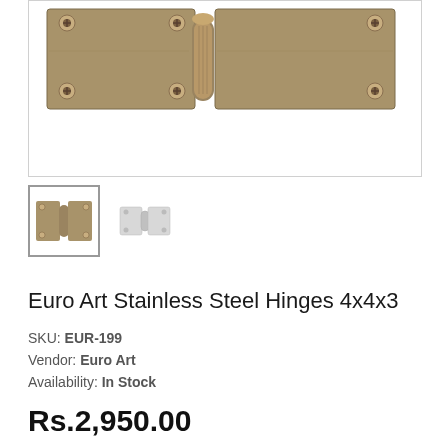[Figure (photo): Close-up photo of Euro Art stainless steel hinges in antique brass finish, showing two leaf hinge plates with mounting holes and a barrel/knuckle pin joint in the center.]
[Figure (photo): Thumbnail of the hinge product showing antique brass finish, selected state with border.]
[Figure (photo): Thumbnail of a lighter/chrome finish hinge variant.]
Euro Art Stainless Steel Hinges 4x4x3
SKU:  EUR-199
Vendor:  Euro Art
Availability:  In Stock
Rs.2,950.00